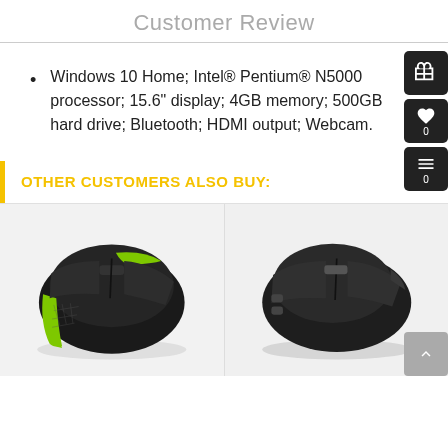Customer Review
Windows 10 Home; Intel® Pentium® N5000 processor; 15.6" display; 4GB memory; 500GB hard drive; Bluetooth; HDMI output; Webcam.
OTHER CUSTOMERS ALSO BUY:
[Figure (photo): Black wireless computer mouse with green accent stripes on a white/grey background]
[Figure (photo): Black wireless computer mouse on a white/grey background]